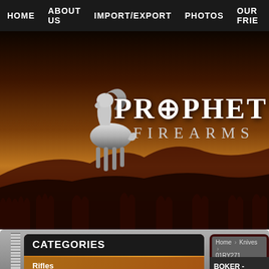HOME   ABOUT US   IMPORT/EXPORT   PHOTOS   OUR FRIE...
[Figure (logo): Prophet River Firearms logo with bighorn sheep silhouette on rocky landscape, text reads PROPHET RIVER FIREARMS]
CATEGORIES
[Figure (illustration): Decorative wood-grain panel with golden scroll/swirl ornamental design]
Rifles
Air Rifles
Anschutz
Home > Knives > 01RY271
BOKER - MAGNU HANDLE - 01RY2